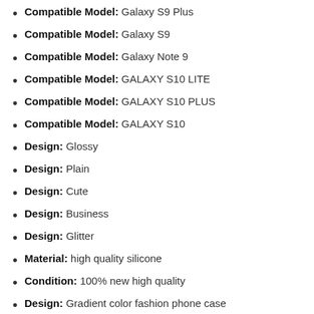Compatible Model: Galaxy S9 Plus
Compatible Model: Galaxy S9
Compatible Model: Galaxy Note 9
Compatible Model: GALAXY S10 LITE
Compatible Model: GALAXY S10 PLUS
Compatible Model: GALAXY S10
Design: Glossy
Design: Plain
Design: Cute
Design: Business
Design: Glitter
Material: high quality silicone
Condition: 100% new high quality
Design: Gradient color fashion phone case
Package: 1pcs * phone case
Compatible model 2: For galaxy s8 case
Compatible model 3: For galaxy s8 plus case